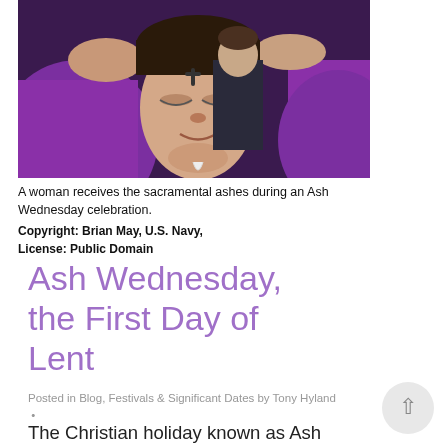[Figure (photo): A woman receives sacramental ashes on her forehead from a person in purple robes during an Ash Wednesday celebration. A person in a dark uniform is visible in the background.]
A woman receives the sacramental ashes during an Ash Wednesday celebration.
Copyright: Brian May, U.S. Navy, License: Public Domain
Ash Wednesday, the First Day of Lent
Posted in Blog, Festivals & Significant Dates by Tony Hyland  •
The Christian holiday known as Ash Wednesday is the first day of the season of Lent, a 40 day